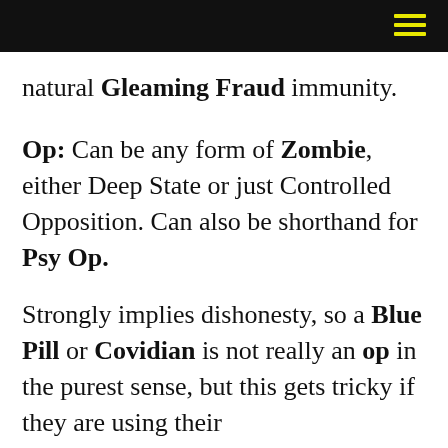natural Gleaming Fraud immunity.
Op: Can be any form of Zombie, either Deep State or just Controlled Opposition. Can also be shorthand for Psy Op.
Strongly implies dishonesty, so a Blue Pill or Covidian is not really an op in the purest sense, but this gets tricky if they are using their